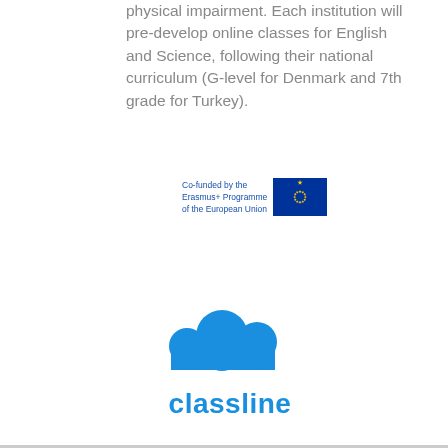physical impairment. Each institution will pre-develop online classes for English and Science, following their national curriculum (G-level for Denmark and 7th grade for Turkey).
[Figure (logo): Co-funded by the Erasmus+ Programme of the European Union logo with EU flag (blue background with yellow stars circle)]
[Figure (logo): Classline logo: blue cloud icon above the word 'classline' in blue bold text]